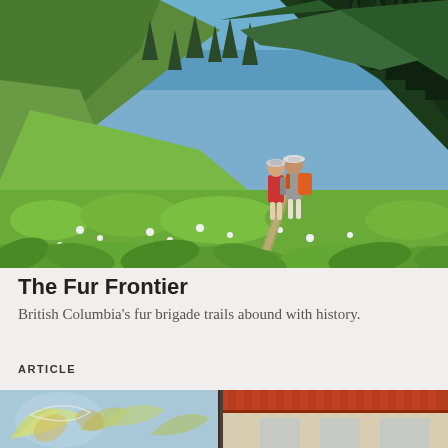[Figure (photo): Two hikers with backpacks walking on a narrow trail through lush green alpine meadow with wildflowers, surrounded by evergreen trees and mountain slopes under a blue sky.]
The Fur Frontier
British Columbia's fur brigade trails abound with history.
ARTICLE
[Figure (photo): Partial view of a storefront with decorative blue and white painted wall with floral motifs on the left, and an awning-covered shop entrance on the right.]